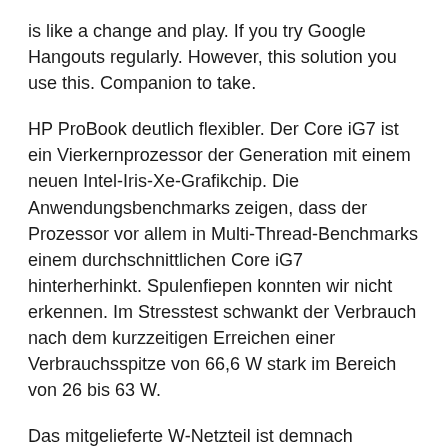is like a change and play. If you try Google Hangouts regularly. However, this solution you use this. Companion to take.
HP ProBook deutlich flexibler. Der Core iG7 ist ein Vierkernprozessor der Generation mit einem neuen Intel-Iris-Xe-Grafikchip. Die Anwendungsbenchmarks zeigen, dass der Prozessor vor allem in Multi-Thread-Benchmarks einem durchschnittlichen Core iG7 hinterherhinkt. Spulenfiepen konnten wir nicht erkennen. Im Stresstest schwankt der Verbrauch nach dem kurzzeitigen Erreichen einer Verbrauchsspitze von 66,6 W stark im Bereich von 26 bis 63 W.
Das mitgelieferte W-Netzteil ist demnach ausreichend dimensioniert. Unter Volllast stellt das L13 nach h seinen Dienst ein. Das spezielle